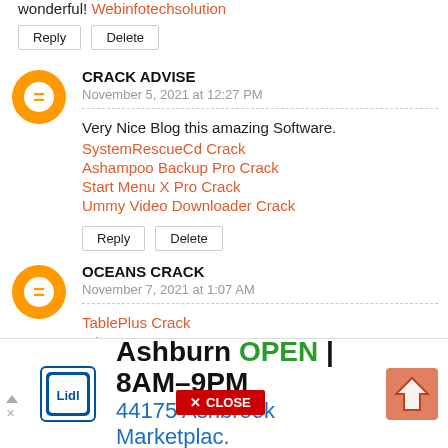wonderful! Webinfotechsolution
Reply   Delete
CRACK ADVISE
November 5, 2021 at 12:27 PM
Very Nice Blog this amazing Software.
SystemRescueCd Crack
Ashampoo Backup Pro Crack
Start Menu X Pro Crack
Ummy Video Downloader Crack
Reply   Delete
OCEANS CRACK
November 7, 2021 at 1:07 AM
TablePlus Crack
[Figure (screenshot): CLOSE button overlay]
[Figure (screenshot): Lidl advertisement banner: Ashburn OPEN 8AM-9PM, 44175 Ashbrook Marketplac.]